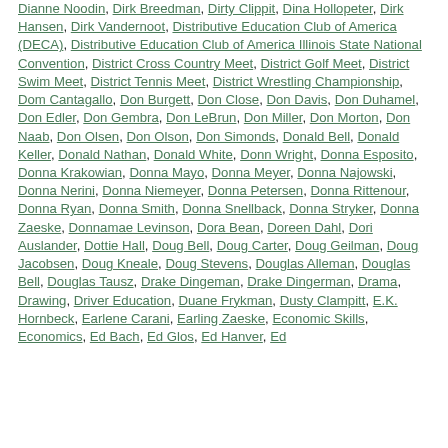Dianne Noodin, Dirk Breedman, Dirty Clippit, Dina Hollopeter, Dirk Hansen, Dirk Vandernoot, Distributive Education Club of America (DECA), Distributive Education Club of America Illinois State National Convention, District Cross Country Meet, District Golf Meet, District Swim Meet, District Tennis Meet, District Wrestling Championship, Dom Cantagallo, Don Burgett, Don Close, Don Davis, Don Duhamel, Don Edler, Don Gembra, Don LeBrun, Don Miller, Don Morton, Don Naab, Don Olsen, Don Olson, Don Simonds, Donald Bell, Donald Keller, Donald Nathan, Donald White, Donn Wright, Donna Esposito, Donna Krakowian, Donna Mayo, Donna Meyer, Donna Najowski, Donna Nerini, Donna Niemeyer, Donna Petersen, Donna Rittenour, Donna Ryan, Donna Smith, Donna Snellback, Donna Stryker, Donna Zaeske, Donnamae Levinson, Dora Bean, Doreen Dahl, Dori Auslander, Dottie Hall, Doug Bell, Doug Carter, Doug Geilman, Doug Jacobsen, Doug Kneale, Doug Stevens, Douglas Alleman, Douglas Bell, Douglas Tausz, Drake Dingeman, Drake Dingerman, Drama, Drawing, Driver Education, Duane Frykman, Dusty Clampitt, E.K. Hornbeck, Earlene Carani, Earling Zaeske, Economic Skills, Economics, Ed Bach, Ed Glos, Ed Hanver, Ed...